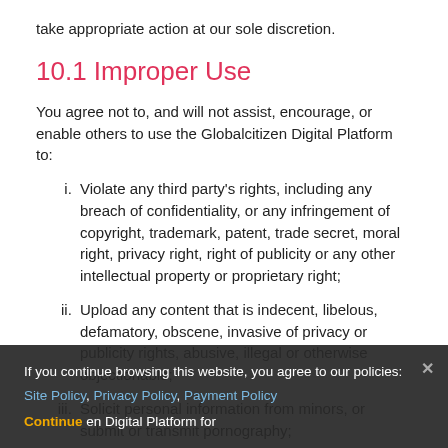take appropriate action at our sole discretion.
10.1 Improper Use
You agree not to, and will not assist, encourage, or enable others to use the Globalcitizen Digital Platform to:
Violate any third party's rights, including any breach of confidentiality, or any infringement of copyright, trademark, patent, trade secret, moral right, privacy right, right of publicity or any other intellectual property or proprietary right;
Upload any content that is indecent, libelous, defamatory, obscene, invasive of privacy or publicity rights, abusive, illegal or otherwise objectionable;
Solicit personal information from minors, or submit or transmit pornography;
Threaten, stalk, harm, or harass others, or promote bigotry or discrimination;
Promote any illegal activity, venture or event or otherwise use the Globalcitizen Digital Platform for
If you continue browsing this website, you agree to our policies: Site Policy, Privacy Policy, Payment Policy Continue en Digital Platform for